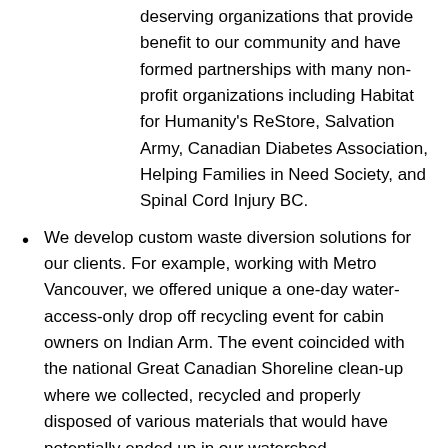deserving organizations that provide benefit to our community and have formed partnerships with many non-profit organizations including Habitat for Humanity's ReStore, Salvation Army, Canadian Diabetes Association, Helping Families in Need Society, and Spinal Cord Injury BC.
We develop custom waste diversion solutions for our clients. For example, working with Metro Vancouver, we offered unique a one-day water-access-only drop off recycling event for cabin owners on Indian Arm. The event coincided with the national Great Canadian Shoreline clean-up where we collected, recycled and properly disposed of various materials that would have potentially ended up in our watershed.
We have dev
[Figure (photo): Photo of four people standing in front of wooden doors in a ballroom or event hall setting. A warm light fixture is visible in the background.]